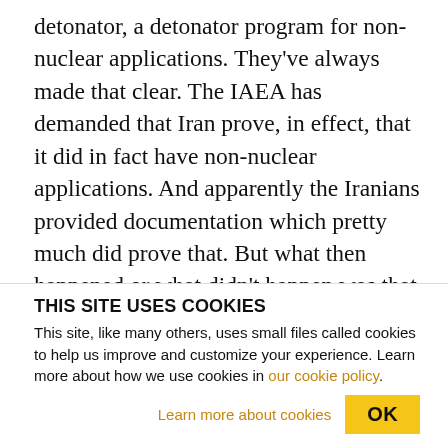detonator, a detonator program for non-nuclear applications. They've always made that clear. The IAEA has demanded that Iran prove, in effect, that it did in fact have non-nuclear applications. And apparently the Iranians provided documentation which pretty much did prove that. But what then happened or what didn't happen was that the IAEA did not close the file and has simply said, well, we'll let you know at some appropriate moment what we think of this. And that seems very clear to me to be a political response by the IAEA to keep the file open
THIS SITE USES COOKIES
This site, like many others, uses small files called cookies to help us improve and customize your experience. Learn more about how we use cookies in our cookie policy.
Learn more about cookies